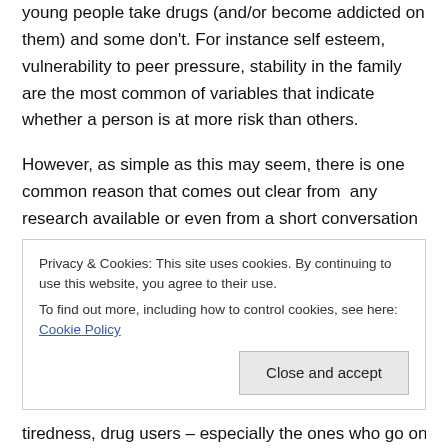young people take drugs (and/or become addicted on them) and some don't. For instance self esteem, vulnerability to peer pressure, stability in the family are the most common of variables that indicate whether a person is at more risk than others.
However, as simple as this may seem, there is one common reason that comes out clear from any research available or even from a short conversation with a drug user: These people use drugs because they believe they need them. (The only possible exception to this rule of thumb is in the case of people who have used drugs
Privacy & Cookies: This site uses cookies. By continuing to use this website, you agree to their use.
To find out more, including how to control cookies, see here: Cookie Policy
Close and accept
tiredness, drug users – especially the ones who go on to